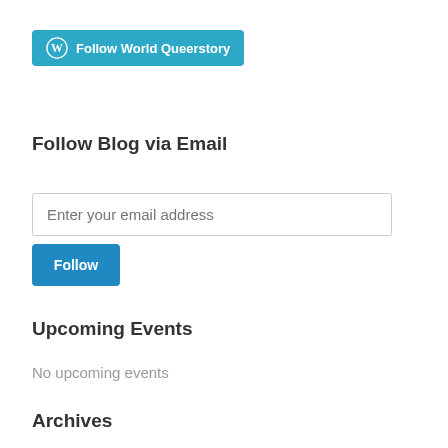[Figure (logo): WordPress Follow World Queerstory button with WordPress logo icon on teal/blue background]
Follow Blog via Email
Enter your email address
Follow
Upcoming Events
No upcoming events
Archives